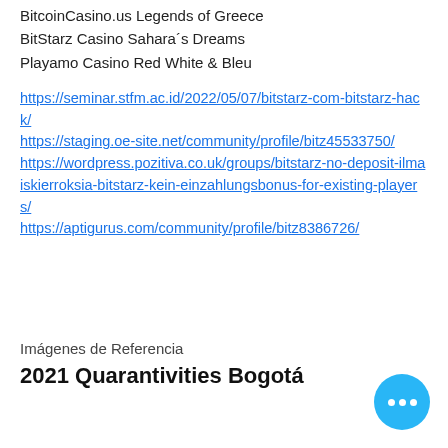BitcoinCasino.us Legends of Greece
BitStarz Casino Sahara´s Dreams
Playamo Casino Red White & Bleu
https://seminar.stfm.ac.id/2022/05/07/bitstarz-com-bitstarz-hack/
https://staging.oe-site.net/community/profile/bitz45533750/
https://wordpress.pozitiva.co.uk/groups/bitstarz-no-deposit-ilmaiskierroksia-bitstarz-kein-einzahlungsbonus-for-existing-players/
https://aptigurus.com/community/profile/bitz8386726/
Imágenes de Referencia
2021 Quarantivities Bogotá